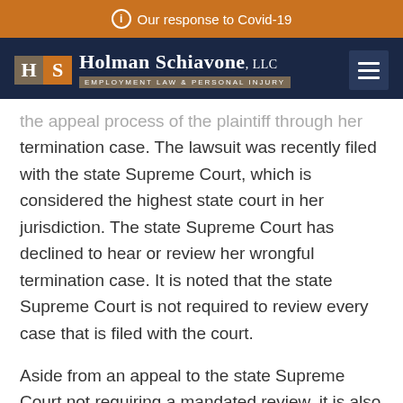ℹ Our response to Covid-19
[Figure (logo): Holman Schiavone LLC logo with H and S letter blocks in tan and orange, with tagline EMPLOYMENT LAW & PERSONAL INJURY]
[partial/faded] ...the appeal process of the plaintiff through her termination case. The lawsuit was recently filed with the state Supreme Court, which is considered the highest state court in her jurisdiction. The state Supreme Court has declined to hear or review her wrongful termination case. It is noted that the state Supreme Court is not required to review every case that is filed with the court.
Aside from an appeal to the state Supreme Court not requiring a mandated review, it is also not the first court in the appeal process of the civil lawsuit. Prior to Nicollette Sheridan's ability to request a hearing from the state